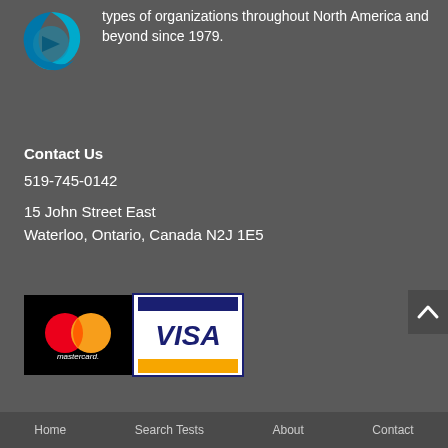[Figure (logo): Cyan and blue circular logo with arrow/swirl design]
types of organizations throughout North America and beyond since 1979.
Contact Us
519-745-0142
15 John Street East
Waterloo, Ontario, Canada N2J 1E5
[Figure (logo): Payment method logos: Mastercard and Visa side by side on black background]
Home   Search Tests   About   Contact